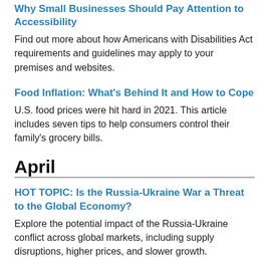Why Small Businesses Should Pay Attention to Accessibility
Find out more about how Americans with Disabilities Act requirements and guidelines may apply to your premises and websites.
Food Inflation: What's Behind It and How to Cope
U.S. food prices were hit hard in 2021. This article includes seven tips to help consumers control their family's grocery bills.
April
HOT TOPIC: Is the Russia-Ukraine War a Threat to the Global Economy?
Explore the potential impact of the Russia-Ukraine conflict across global markets, including supply disruptions, higher prices, and slower growth.
ETFs: Are Options on Mutual Funds Here? Wh...